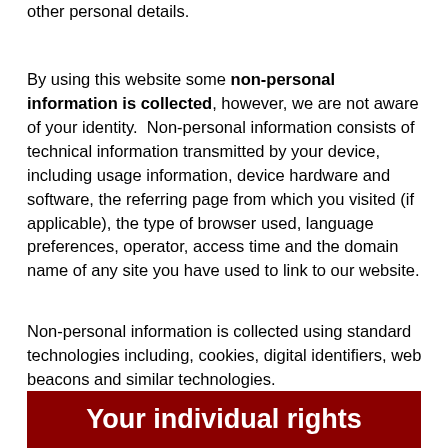other personal details.
By using this website some non-personal information is collected, however, we are not aware of your identity. Non-personal information consists of technical information transmitted by your device, including usage information, device hardware and software, the referring page from which you visited (if applicable), the type of browser used, language preferences, operator, access time and the domain name of any site you have used to link to our website.
Non-personal information is collected using standard technologies including, cookies, digital identifiers, web beacons and similar technologies.
Your individual rights